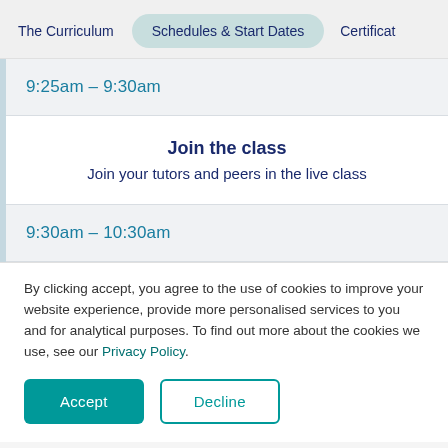The Curriculum | Schedules & Start Dates | Certificat
9:25am – 9:30am
Join the class
Join your tutors and peers in the live class
9:30am – 10:30am
By clicking accept, you agree to the use of cookies to improve your website experience, provide more personalised services to you and for analytical purposes. To find out more about the cookies we use, see our Privacy Policy.
Accept
Decline